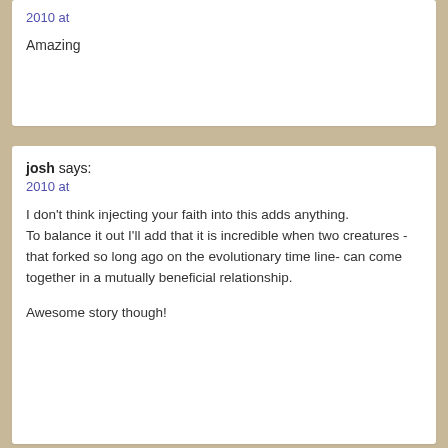2010 at
Amazing
josh says:
2010 at
I don't think injecting your faith into this adds anything.
To balance it out I'll add that it is incredible when two creatures -that forked so long ago on the evolutionary time line- can come together in a mutually beneficial relationship.

Awesome story though!